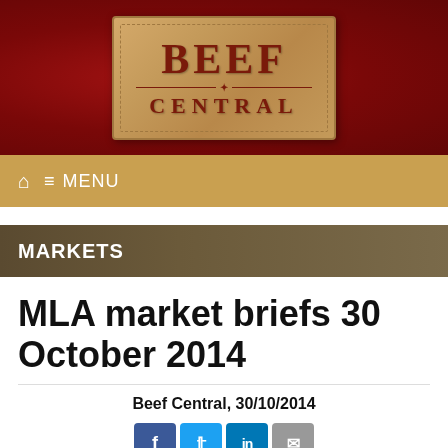[Figure (logo): Beef Central logo on dark red leather-textured background. Logo is a tan leather-look badge with 'BEEF' in large serif letters, a decorative divider, and 'CENTRAL' in spaced serif letters below.]
MENU
MARKETS
MLA market briefs 30 October 2014
Beef Central, 30/10/2014